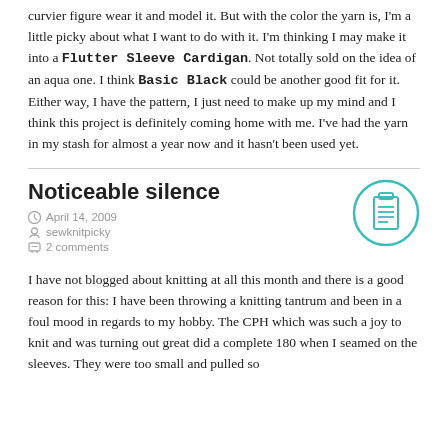curvier figure wear it and model it. But with the color the yarn is, I'm a little picky about what I want to do with it. I'm thinking I may make it into a Flutter Sleeve Cardigan. Not totally sold on the idea of an aqua one. I think Basic Black could be another good fit for it. Either way, I have the pattern, I just need to make up my mind and I think this project is definitely coming home with me. I've had the yarn in my stash for almost a year now and it hasn't been used yet.
Noticeable silence
April 14, 2009
sewknitpicky
2 comments
[Figure (illustration): Teal circle with a clipboard/list icon inside]
I have not blogged about knitting at all this month and there is a good reason for this: I have been throwing a knitting tantrum and been in a foul mood in regards to my hobby. The CPH which was such a joy to knit and was turning out great did a complete 180 when I seamed on the sleeves. They were too small and pulled so